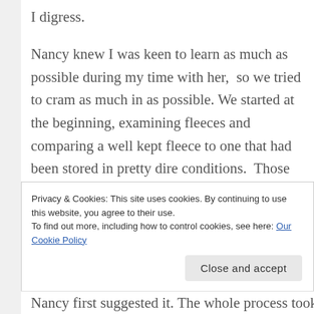I digress.
Nancy knew I was keen to learn as much as possible during my time with her,  so we tried to cram as much in as possible. We started at the beginning, examining fleeces and comparing a well kept fleece to one that had been stored in pretty dire conditions.  Those of a weaker constitution might have had to leave the room at this point, but it’s important to know what your looking for, if you’re going to be buying a fleece direct from the farmer.
Privacy & Cookies: This site uses cookies. By continuing to use this website, you agree to their use.
To find out more, including how to control cookies, see here: Our Cookie Policy
Nancy first suggested it.  The whole process took a